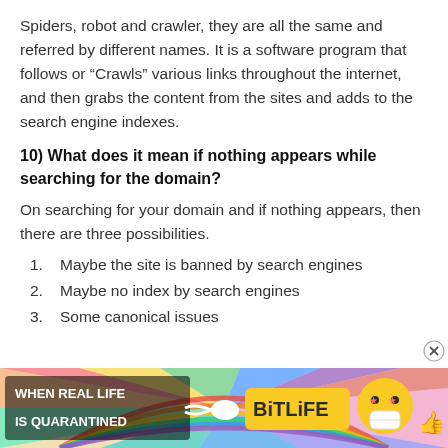Spiders, robot and crawler, they are all the same and referred by different names. It is a software program that follows or “Crawls” various links throughout the internet, and then grabs the content from the sites and adds to the search engine indexes.
10) What does it mean if nothing appears while searching for the domain?
On searching for your domain and if nothing appears, then there are three possibilities.
Maybe the site is banned by search engines
Maybe no index by search engines
Some canonical issues
[Figure (screenshot): Advertisement banner for BitLife game showing rainbow colors, a cartoon emoji character, and text 'WHEN REAL LIFE IS QUARANTINED' with BitLife logo]